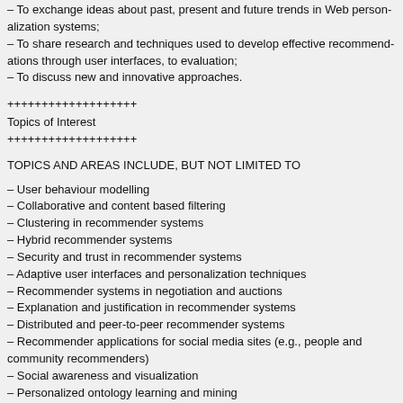– To exchange ideas about past, present and future trends in Web personalization systems;
– To share research and techniques used to develop effective recommendations, through user interfaces, to evaluation;
– To discuss new and innovative approaches.
+++++++++++++++++++
Topics of Interest
+++++++++++++++++++
TOPICS AND AREAS INCLUDE, BUT NOT LIMITED TO
– User behaviour modelling
– Collaborative and content based filtering
– Clustering in recommender systems
– Hybrid recommender systems
– Security and trust in recommender systems
– Adaptive user interfaces and personalization techniques
– Recommender systems in negotiation and auctions
– Explanation and justification in recommender systems
– Distributed and peer-to-peer recommender systems
– Recommender applications for social media sites (e.g., people and community recommenders)
– Social awareness and visualization
– Personalized ontology learning and mining